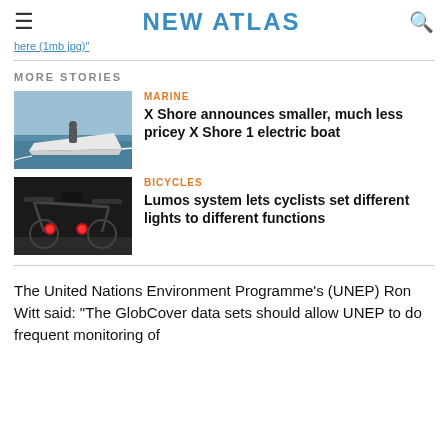NEW ATLAS
here (1mb jpg)
MORE STORIES
[Figure (photo): Electric boat on water, side view, white hull]
MARINE
X Shore announces smaller, much less pricey X Shore 1 electric boat
[Figure (photo): Bicycle handlebars from behind with red rear lights visible]
BICYCLES
Lumos system lets cyclists set different lights to different functions
The United Nations Environment Programme's (UNEP) Ron Witt said: "The GlobCover data sets should allow UNEP to do frequent monitoring of